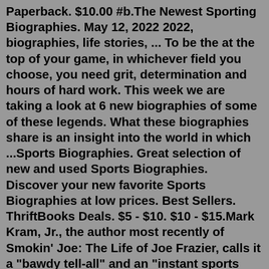Paperback. $10.00 #b.The Newest Sporting Biographies. May 12, 2022 2022, biographies, life stories, ... To be the at the top of your game, in whichever field you choose, you need grit, determination and hours of hard work. This week we are taking a look at 6 new biographies of some of these legends. What these biographies share is an insight into the world in which ...Sports Biographies. Great selection of new and used Sports Biographies. Discover your new favorite Sports Biographies at low prices. Best Sellers. ThriftBooks Deals. $5 - $10. $10 - $15.Mark Kram, Jr., the author most recently of Smokin' Joe: The Life of Joe Frazier, calls it a "bawdy tell-all" and an "instant sports literary classic." Bouton was known for his wild knuckleballs,...Mar 23, 2016 · Baichung Bhutia. The famous Indian footballer in India, Baichung Bhutia is one of the most famous sports personalities in India. He has also received the Arjun Award for football. 17. Pankaj Advani. Pankaj Advani is a famous billiards and snooker player of India and is also a world